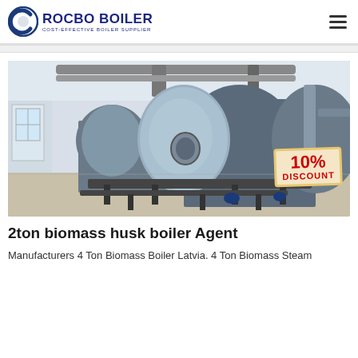ROCBO BOILER — COST-EFFECTIVE BOILER SUPPLIER
[Figure (photo): Industrial boiler room with two large horizontal cylindrical boilers painted grey/blue, with pipes and fittings, inside a factory setting. A '10% DISCOUNT' badge is overlaid in the lower-right corner.]
2ton biomass husk boiler Agent
Manufacturers 4 Ton Biomass Boiler Latvia. 4 Ton Biomass Steam